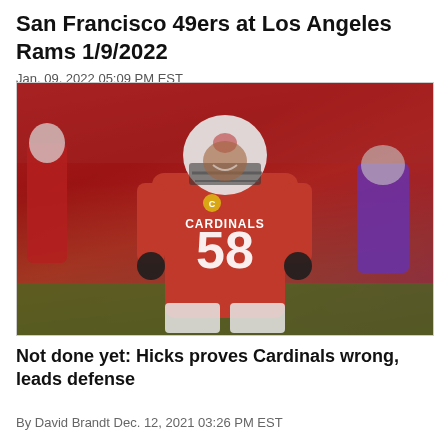San Francisco 49ers at Los Angeles Rams 1/9/2022
Jan. 09, 2022 05:09 PM EST
[Figure (photo): Arizona Cardinals player number 58 in red uniform and white helmet, smiling and celebrating on the football field. A Minnesota Vikings player in purple uniform is visible in the background.]
Not done yet: Hicks proves Cardinals wrong, leads defense
By David Brandt Dec. 12, 2021 03:26 PM EST